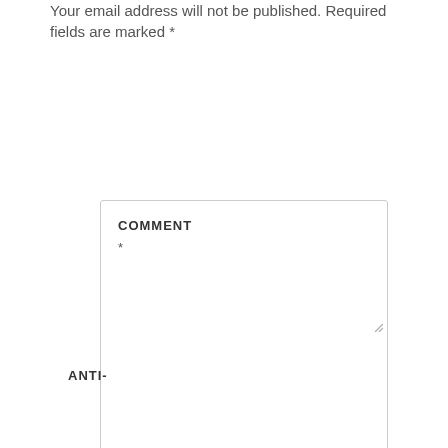Your email address will not be published. Required fields are marked *
COMMENT
*
ANTI-
SPAM* Anti-spam word